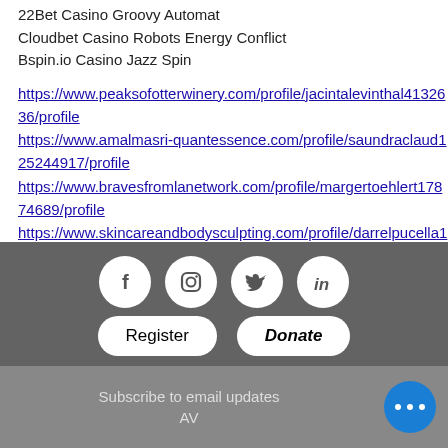22Bet Casino Groovy Automat
Cloudbet Casino Robots Energy Conflict
Bspin.io Casino Jazz Spin
https://www.peaksofotterwinery.com/profile/jacintalevinthal4132636/profile
https://www.amalmasri-quantessence.com/profile/saundraclaud125244917/profile
https://www.bravesfromlanetwork.com/profile/margertoehlert17874689/profile
https://www.skincareandbodysculpting.com/profile/darrelpucella19031548/profile
[Figure (other): Footer with social media icons (Facebook, Instagram, Twitter, LinkedIn), Register and Donate buttons, and Subscribe to email updates bar with blue dots button]